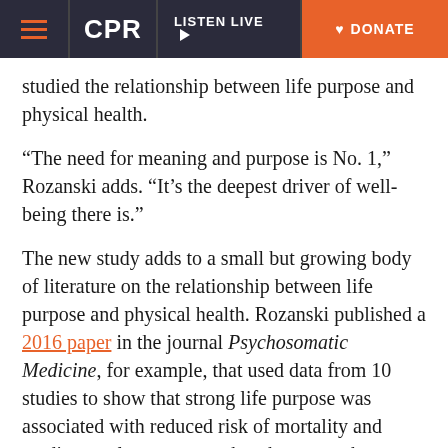CPR | LISTEN LIVE | DONATE
studied the relationship between life purpose and physical health.
“The need for meaning and purpose is No. 1,” Rozanski adds. “It’s the deepest driver of well-being there is.”
The new study adds to a small but growing body of literature on the relationship between life purpose and physical health. Rozanski published a 2016 paper in the journal Psychosomatic Medicine, for example, that used data from 10 studies to show that strong life purpose was associated with reduced risk of mortality and cardiovascular events, such as heart attacks or stroke.